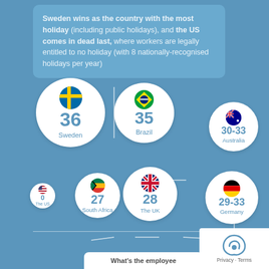Sweden wins as the country with the most holiday (including public holidays), and the US comes in dead last, where workers are legally entitled to no holiday (with 8 nationally-recognised holidays per year)
[Figure (infographic): Bubble chart showing holiday days by country: Sweden 36, Brazil 35, Australia 30-33, Germany 29-33, The UK 28, South Africa 27, The US 0]
What's the employee